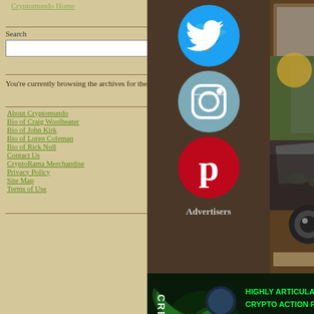Cryptomundo Home
Join The Search
Search
Your Tour Guide
You're currently browsing the archives for the "Photos" category.
Mystery Pages
About Cryptomundo
Bio of Craig Woolheater
Bio of John Kirk
Bio of Loren Coleman
Bio of Rick Noll
Contact Us
CryptoRama Merchandise
Privacy Policy
Site Map
Terms of Use
Login
[Figure (infographic): Social media icons: Twitter (blue bird), Instagram (blue camera), Pinterest (red P). Below icons: Advertisers label.]
[Figure (photo): Photo collage showing Bigfoot/cryptid related images on right side of page]
[Figure (illustration): Creature - Highly Articulated Crypto Action Figures advertisement with green glowing creature on dark background]